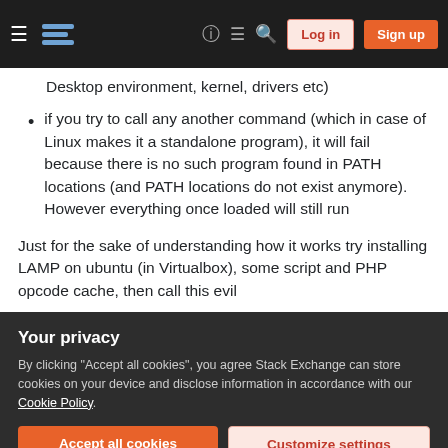Stack Exchange navigation bar with hamburger menu, logo, help, chat, search icons, Log in and Sign up buttons
Desktop environment, kernel, drivers etc)
if you try to call any another command (which in case of Linux makes it a standalone program), it will fail because there is no such program found in PATH locations (and PATH locations do not exist anymore). However everything once loaded will still run
Just for the sake of understanding how it works try installing LAMP on ubuntu (in Virtualbox), some script and PHP opcode cache, then call this evil
Your privacy
By clicking "Accept all cookies", you agree Stack Exchange can store cookies on your device and disclose information in accordance with our Cookie Policy.
Accept all cookies   Customize settings
everything , it cannot delete some kernel